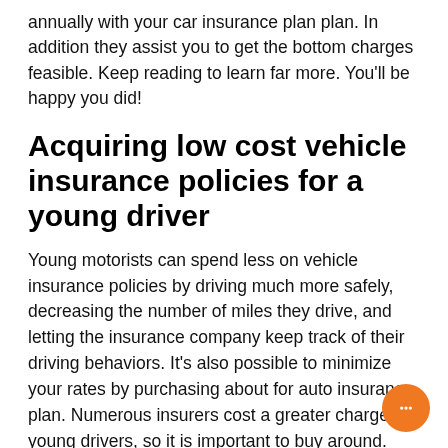annually with your car insurance plan plan. In addition they assist you to get the bottom charges feasible. Keep reading to learn far more. You'll be happy you did!
Acquiring low cost vehicle insurance policies for a young driver
Young motorists can spend less on vehicle insurance policies by driving much more safely, decreasing the number of miles they drive, and letting the insurance company keep track of their driving behaviors. It's also possible to minimize your rates by purchasing about for auto insurance plan. Numerous insurers cost a greater charge for young drivers, so it is important to buy around. Luckily, you'll find absolutely free on the internet estimate comparison resources that make this uncomplicated. Moreover, you can request a reduction Should you have a number of cars and trucks and also have them insured by the same corporation